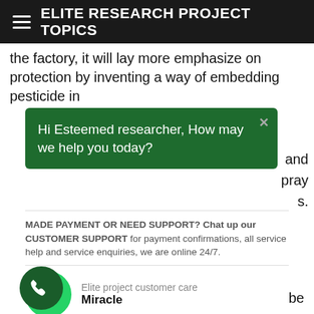ELITE RESEARCH PROJECT TOPICS
the factory, it will lay more emphasize on protection by inventing a way of embedding pesticide in
[Figure (screenshot): Green chat popup with text: Hi Esteemed researcher, How may we help you today? with a close (x) button]
MADE PAYMENT OR NEED SUPPORT? Chat up our CUSTOMER SUPPORT for payment confirmations, all service help and service enquiries, we are online 24/7.
[Figure (logo): WhatsApp green icon with contact info: Elite project customer care, Miracle]
The introduction or provision of paint factory in di will help to increase the effectiveness of producing industries around e.g.